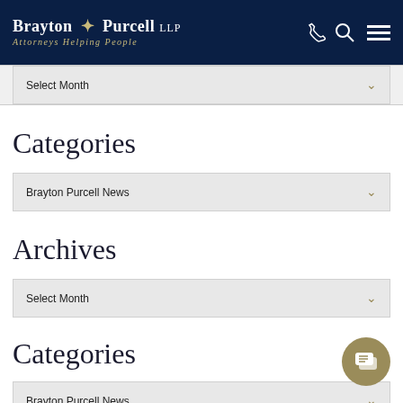Brayton Purcell LLP — Attorneys Helping People
Select Month
Categories
Brayton Purcell News
Archives
Select Month
Categories
Brayton Purcell News